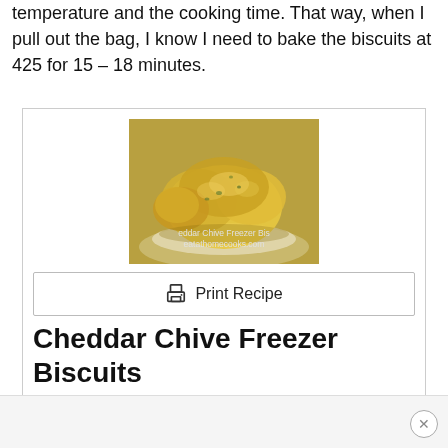temperature and the cooking time. That way, when I pull out the bag, I know I need to bake the biscuits at 425 for 15 – 18 minutes.
[Figure (photo): Photo of Cheddar Chive Freezer Biscuits — golden baked biscuits with a piece broken off, placed in a paper-lined basket. Watermark text reads 'eddar Chive Freezer Bis' and 'eatathomecooks.com'.]
Print Recipe
Cheddar Chive Freezer Biscuits
Servings: 18 biscuits